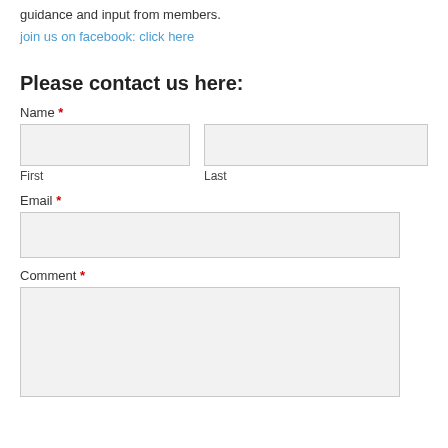guidance and input from members.
join us on facebook: click here
Please contact us here:
Name *
First
Last
Email *
Comment *